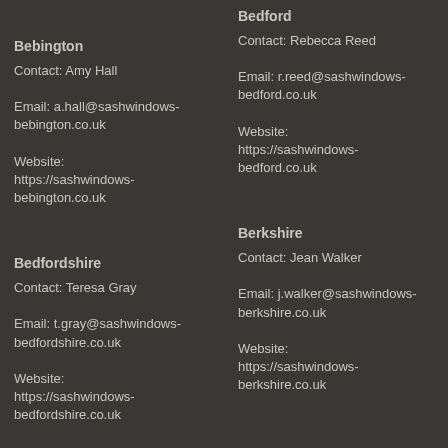Bebington
Contact: Amy Hall
Email: a.hall@sashwindows-bebington.co.uk
Website: https://sashwindows-bebington.co.uk
Bedford
Contact: Rebecca Reed
Email: r.reed@sashwindows-bedford.co.uk
Website: https://sashwindows-bedford.co.uk
Bedfordshire
Contact: Teresa Gray
Email: t.gray@sashwindows-bedfordshire.co.uk
Website: https://sashwindows-bedfordshire.co.uk
Berkshire
Contact: Jean Walker
Email: j.walker@sashwindows-berkshire.co.uk
Website: https://sashwindows-berkshire.co.uk